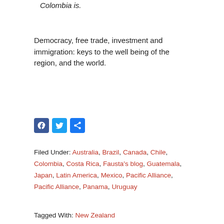Colombia is.
Democracy, free trade, investment and immigration: keys to the well being of the region, and the world.
[Figure (other): Social media share buttons: Facebook, Twitter, Share]
Filed Under: Australia, Brazil, Canada, Chile, Colombia, Costa Rica, Fausta's blog, Guatemala, Japan, Latin America, Mexico, Pacific Alliance, Pacific Alliance, Panama, Uruguay
Tagged With: New Zealand